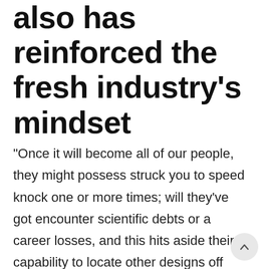also has reinforced the fresh industry's mindset
“Once it will become all of our people, they might possess struck you to speed knock one or more times; will they’ve got encounter scientific debts or a career losses, and this hits aside their capability to locate other designs off credit,” told you Jonathan Walker, which thoughts Elevate’s Heart towards the This new Middle-income group, a study and data-gathering tool that analyzes the newest borrowing models of the